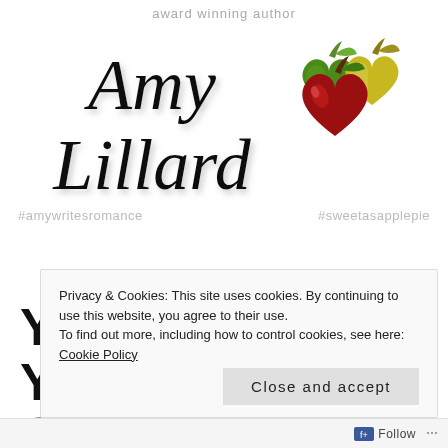[Figure (logo): Amy Lillard author logo with cursive script name and colorful heart-shaped apple icons, hashtags #amywritesromance and #sweetasapplepie]
YOU KNOW YOU'RE COUNTRY IF…
Privacy & Cookies: This site uses cookies. By continuing to use this website, you agree to their use. To find out more, including how to control cookies, see here: Cookie Policy
Close and accept
Follow